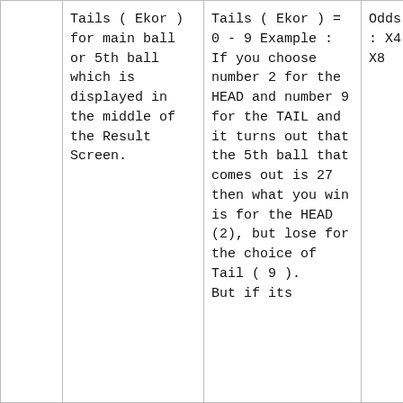|  | Tails ( Ekor ) for main ball or 5th ball which is displayed in the middle of the Result Screen. | Tails ( Ekor ) = 0 - 9 Example : If you choose number 2 for the HEAD and number 9 for the TAIL and it turns out that the 5th ball that comes out is 27 then what you win is for the HEAD (2), but lose for the choice of Tail ( 9 ). But if its | Odds : HEAD : X4 TAILS : X8 |
| --- | --- | --- | --- |